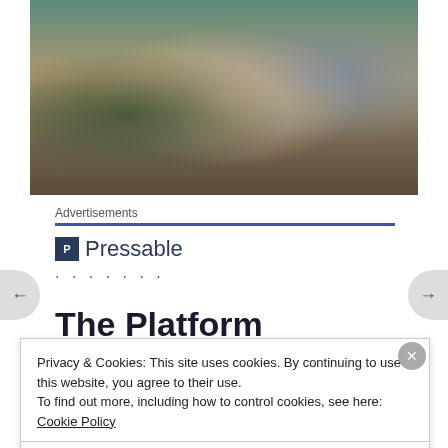[Figure (photo): Video game artwork showing multiple characters in action poses, including a female protagonist with pink hair in tactical gear holding a weapon, set against a naturalistic background.]
Advertisements
[Figure (logo): Pressable logo with a dark blue square icon containing the letter P and the word Pressable in dark blue sans-serif text, followed by a row of dots.]
The Platform
Privacy & Cookies: This site uses cookies. By continuing to use this website, you agree to their use.
To find out more, including how to control cookies, see here: Cookie Policy
Close and accept